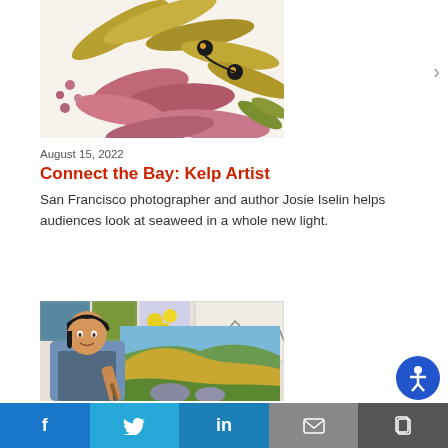[Figure (illustration): Colorful illustration of kelp/seaweed with pink and gold-green leaves and small round buoys]
August 15, 2022
Connect the Bay: Kelp Artist
San Francisco photographer and author Josie Iselin helps audiences look at seaweed in a whole new light.
[Figure (photo): Woman artist in blue apron holding a brush in front of a large landscape painting of golden hills with grazing animals]
[Figure (other): Accessibility icon - blue circle with white figure]